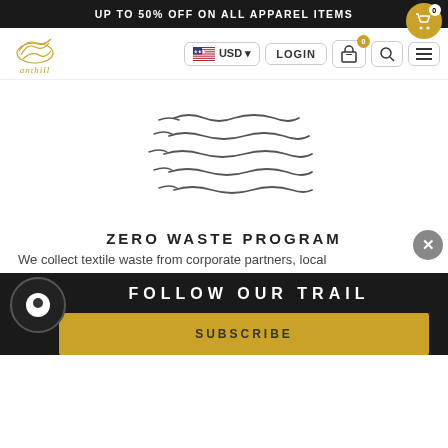UP TO 50% OFF ON ALL APPAREL ITEMS
[Figure (logo): Anthill brand logo with stylized golden ant hill icon and italic 'anthill' text]
[Figure (illustration): Abstract wavy lines illustration representing fabric or textile waves]
ZERO WASTE PROGRAM
We collect textile waste from corporate partners, local
FOLLOW OUR TRAIL
SUBSCRIBE